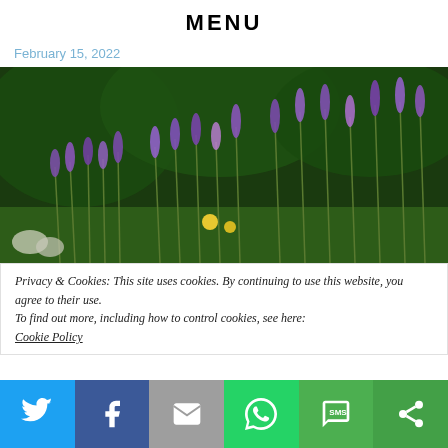MENU
February 15, 2022
[Figure (photo): Lavender flowers in bloom with green foliage and yellow wildflowers in the background]
Privacy & Cookies: This site uses cookies. By continuing to use this website, you agree to their use.
To find out more, including how to control cookies, see here: Cookie Policy
Share bar with Twitter, Facebook, Email, WhatsApp, SMS, and More buttons